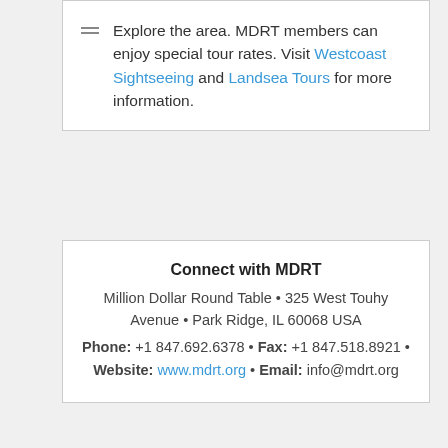Explore the area. MDRT members can enjoy special tour rates. Visit Westcoast Sightseeing and Landsea Tours for more information.
Connect with MDRT
Million Dollar Round Table • 325 West Touhy Avenue • Park Ridge, IL 60068 USA
Phone: +1 847.692.6378 • Fax: +1 847.518.8921 • Website: www.mdrt.org • Email: info@mdrt.org